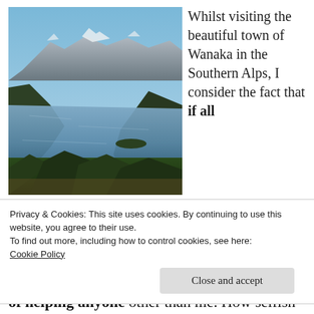[Figure (photo): Landscape photograph of Lake Wanaka in the Southern Alps, New Zealand. A calm blue lake is surrounded by forested hills and snow-capped mountains under a clear blue sky.]
Whilst visiting the beautiful town of Wanaka in the Southern Alps, I consider the fact that if all
Privacy & Cookies: This site uses cookies. By continuing to use this website, you agree to their use.
To find out more, including how to control cookies, see here:
Cookie Policy
Close and accept
of helping anyone other than me. How selfish